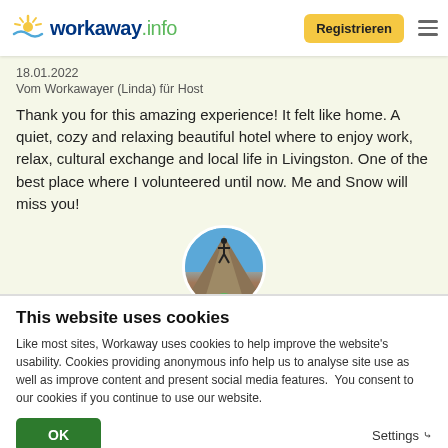[Figure (logo): Workaway.info logo with sun icon]
Registrieren
18.01.2022
Vom Workawayer (Linda) für Host
Thank you for this amazing experience! It felt like home. A quiet, cozy and relaxing beautiful hotel where to enjoy work, relax, cultural exchange and local life in Livingston. One of the best place where I volunteered until now. Me and Snow will miss you!
[Figure (photo): Circular avatar photo of a person on a mountain top with blue sky]
This website uses cookies
Like most sites, Workaway uses cookies to help improve the website's usability. Cookies providing anonymous info help us to analyse site use as well as improve content and present social media features.  You consent to our cookies if you continue to use our website.
OK
Settings